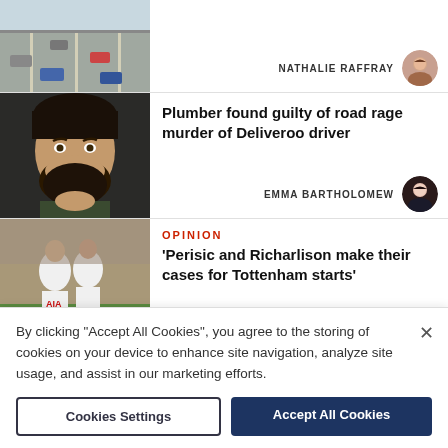[Figure (photo): Aerial view of a highway with cars]
NATHALIE RAFFRAY
[Figure (photo): Mugshot of a young man with dark hair and beard]
Plumber found guilty of road rage murder of Deliveroo driver
EMMA BARTHOLOMEW
[Figure (photo): Tottenham Hotspur football players in white kits]
OPINION
'Perisic and Richarlison make their cases for Tottenham starts'
By clicking "Accept All Cookies", you agree to the storing of cookies on your device to enhance site navigation, analyze site usage, and assist in our marketing efforts.
Cookies Settings
Accept All Cookies